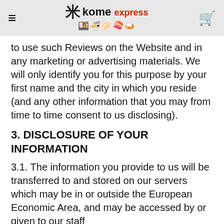Kome Express
to use such Reviews on the Website and in any marketing or advertising materials. We will only identify you for this purpose by your first name and the city in which you reside (and any other information that you may from time to time consent to us disclosing).
3. DISCLOSURE OF YOUR INFORMATION
3.1. The information you provide to us will be transferred to and stored on our servers which may be in or outside the European Economic Area, and may be accessed by or given to our staff